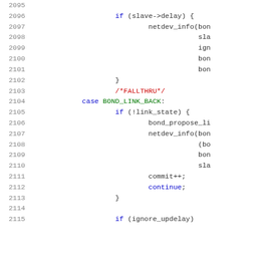[Figure (screenshot): Source code listing lines 2095-2115 of a C kernel networking file showing switch-case logic for bond link state handling with line numbers on the left.]